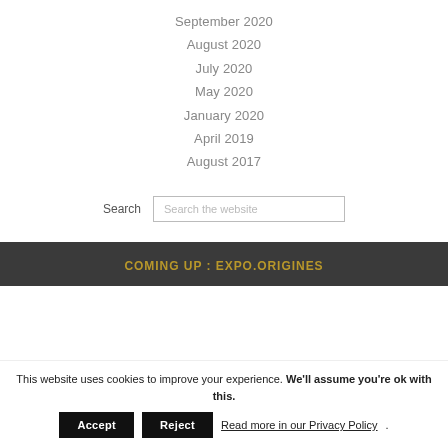September 2020
August 2020
July 2020
May 2020
January 2020
April 2019
August 2017
Search
Search the website
COMING UP : EXPO.ORIGINES
This website uses cookies to improve your experience. We'll assume you're ok with this. Accept Reject Read more in our Privacy Policy.